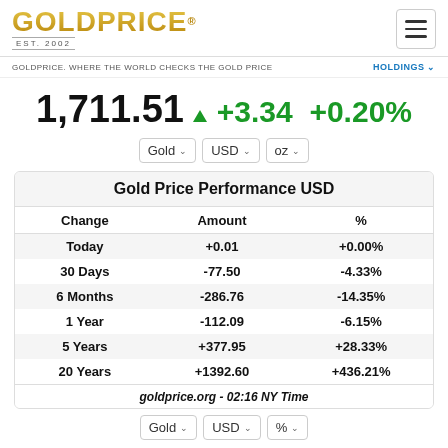GOLDPRICE® EST. 2002
GOLDPRICE. WHERE THE WORLD CHECKS THE GOLD PRICE   HOLDINGS
1,711.51 ▲ +3.34 +0.20%
| Change | Amount | % |
| --- | --- | --- |
| Today | +0.01 | +0.00% |
| 30 Days | -77.50 | -4.33% |
| 6 Months | -286.76 | -14.35% |
| 1 Year | -112.09 | -6.15% |
| 5 Years | +377.95 | +28.33% |
| 20 Years | +1392.60 | +436.21% |
goldprice.org - 02:16 NY Time